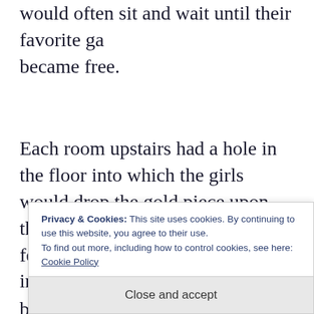would often sit and wait until their favorite game became free.
Each room upstairs had a hole in the floor into which the girls would drop the gold piece upon the session's completion. The hole fed a tube that carried the gold into different chambers b... c... s... h...
Privacy & Cookies: This site uses cookies. By continuing to use this website, you agree to their use.
To find out more, including how to control cookies, see here: Cookie Policy
Close and accept